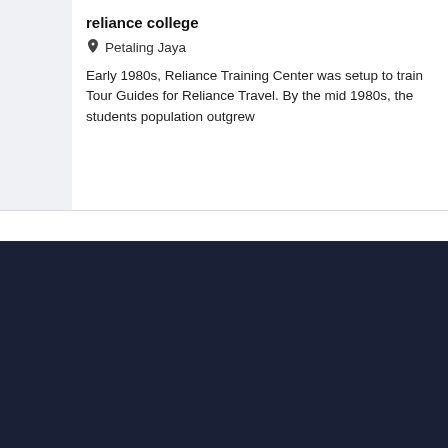reliance college
Petaling Jaya
Early 1980s, Reliance Training Center was setup to train Tour Guides for Reliance Travel. By the mid 1980s, the students population outgrew
Level 32 Menara Allianz Sentral, 203 Jalan Tun Sambanthan, 50470 Kuala Lumpur, Malaysia
About Us
Privacy Policy / Terms of Use